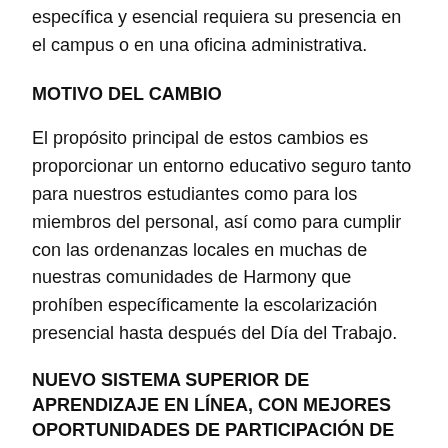específica y esencial requiera su presencia en el campus o en una oficina administrativa.
MOTIVO DEL CAMBIO
El propósito principal de estos cambios es proporcionar un entorno educativo seguro tanto para nuestros estudiantes como para los miembros del personal, así como para cumplir con las ordenanzas locales en muchas de nuestras comunidades de Harmony que prohíben específicamente la escolarización presencial hasta después del Día del Trabajo.
NUEVO SISTEMA SUPERIOR DE APRENDIZAJE EN LÍNEA, CON MEJORES OPORTUNIDADES DE PARTICIPACIÓN DE LOS ESTUDIANTES Y ACTIVIDADES EXTRACURRICULARES